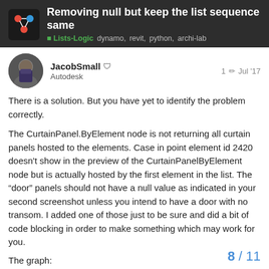Removing null but keep the list sequence same
Lists-Logic  dynamo,  revit,  python,  archi-lab
JacobSmall 🛡  1 ✏  Jul '17
Autodesk
There is a solution. But you have yet to identify the problem correctly.
The CurtainPanel.ByElement node is not returning all curtain panels hosted to the elements. Case in point element id 2420 doesn't show in the preview of the CurtainPanelByElement node but is actually hosted by the first element in the list. The "door" panels should not have a null value as indicated in your second screenshot unless you intend to have a door with no transom. I added one of those just to be sure and did a bit of code blocking in order to make something which may work for you.
The graph:
[Figure (screenshot): Screenshot of a Dynamo graph showing nodes connected with wires]
8 / 11